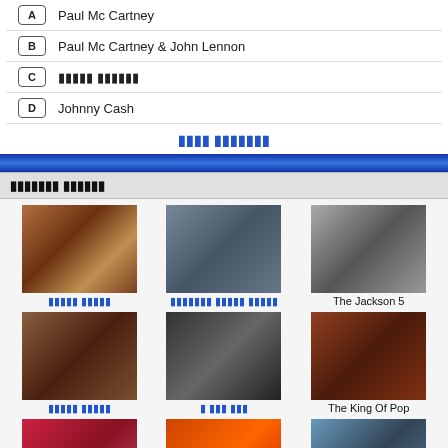A  Paul Mc Cartney
B  Paul Mc Cartney & John Lennon
C  [scrambled text]
D  Johnny Cash
[scrambled link text]
[scrambled header text]
[Figure (photo): Grid of 9 artist/group photos with labels: [scrambled], [scrambled], The Jackson 5, [scrambled], [scrambled], The King Of Pop, The Thriller Era, MJ's This is it, the jackson 3]
[scrambled] >>